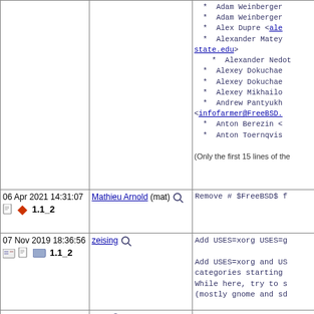| Date/Version | Committer | Commit Message |
| --- | --- | --- |
| (top row truncated) | * Adam Weinberger
* Adam Weinberger
* Alex Dupre <ale...>
* Alexander Matey...state.edu>
* Alexander Nedot...
* Alexey Dokuchae...
* Alexey Dokuchae...
* Alexey Mikhailo...
* Andrew Pantyukh...<infofarmer@FreeBSD....>
* Anton Berezin <...
* Anton Toernqvis...
(Only the first 15 lines of the ... |  |
| 06 Apr 2021 14:31:07
[icons] 1.1_2 | Mathieu Arnold (mat) [search] | Remove # $FreeBSD$ f |
| 07 Nov 2019 18:36:56
[icons] 1.1_2 | zeising [search] | Add USES=xorg USES=g

Add USES=xorg and US categories starting
While here, try to s (mostly gnome and sd |
| 13 Dec 2013 23:31:48
[icons] 1.1_2 | bapt [search] | Support stage |
| 13 Oct 2013 02:01:17 | eadler [search] | Cleanup of the uown... |